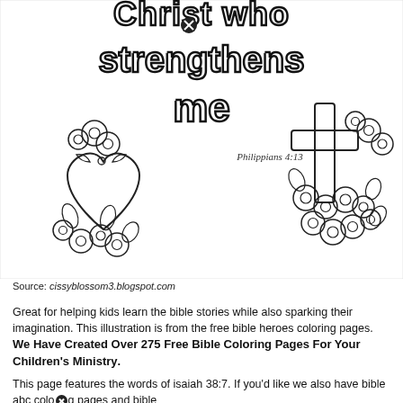[Figure (illustration): A coloring page illustration showing decorative text 'Christ who strengthens me' with a heart surrounded by flowers on the left and a cross surrounded by flowers on the right, and the scripture reference 'Philippians 4:13' in the center-right area. The image is in black and white outline style for coloring.]
Source: cissyblossom3.blogspot.com
Great for helping kids learn the bible stories while also sparking their imagination. This illustration is from the free bible heroes coloring pages. We Have Created Over 275 Free Bible Coloring Pages For Your Children's Ministry.
This page features the words of isaiah 38:7. If you'd like we also have bible abc coloring pages and bible